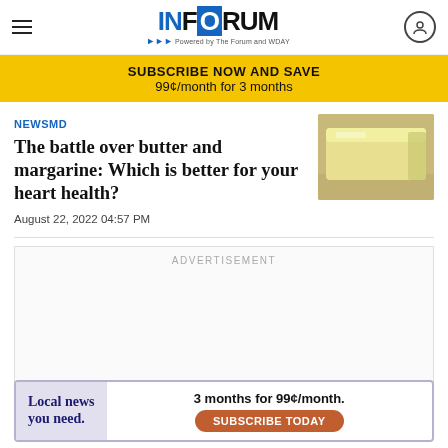INFORUM - Powered by The Forum and WDAY
SUBSCRIBE NOW AND SAVE
99¢/month for 3 months
NEWSMD
The battle over butter and margarine: Which is better for your heart health?
[Figure (photo): A block of butter or margarine on a surface]
August 22, 2022 04:57 PM
ADVERTISEMENT
[Figure (infographic): Bottom advertisement banner: Local news you need. 3 months for 99¢/month. SUBSCRIBE TODAY]